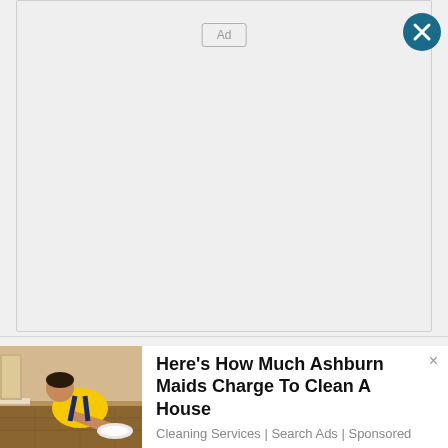[Figure (other): Large empty ad banner area with 'Ad' label and teal close button in top right corner]
[Figure (photo): Woman in yellow uniform cleaning a floor, scrubbing on hands and knees indoors]
Here's How Much Ashburn Maids Charge To Clean A House
Cleaning Services | Search Ads | Sponsored